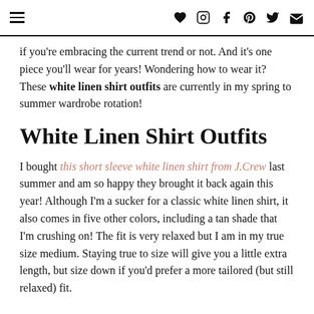≡  ♥ Instagram f Pinterest Twitter Mail
if you're embracing the current trend or not. And it's one piece you'll wear for years! Wondering how to wear it? These white linen shirt outfits are currently in my spring to summer wardrobe rotation!
White Linen Shirt Outfits
I bought this short sleeve white linen shirt from J.Crew last summer and am so happy they brought it back again this year! Although I'm a sucker for a classic white linen shirt, it also comes in five other colors, including a tan shade that I'm crushing on! The fit is very relaxed but I am in my true size medium. Staying true to size will give you a little extra length, but size down if you'd prefer a more tailored (but still relaxed) fit.